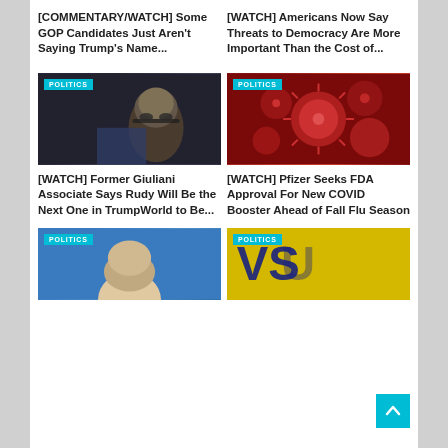[COMMENTARY/WATCH] Some GOP Candidates Just Aren't Saying Trump's Name...
[WATCH] Americans Now Say Threats to Democracy Are More Important Than the Cost of...
[Figure (photo): Man with glasses in profile, dark background, POLITICS badge overlay]
[Figure (photo): Red coronavirus particles close-up image, POLITICS badge overlay]
[WATCH] Former Giuliani Associate Says Rudy Will Be the Next One in TrumpWorld to Be...
[WATCH] Pfizer Seeks FDA Approval For New COVID Booster Ahead of Fall Flu Season
[Figure (photo): Bald man in blue background, POLITICS badge overlay]
[Figure (photo): Yellow background with dark text/logo, POLITICS badge overlay]